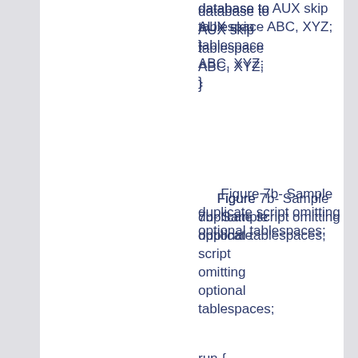database to AUX skip tablespace ABC, XYZ;
}
Figure 7b- Sample duplicate script omitting optional tablespaces;
run {
   set until time "to_date('Jan 01 2000 12:00:00','Mon DD YYYY HH24:MI:SS')";
   allocate auxiliary